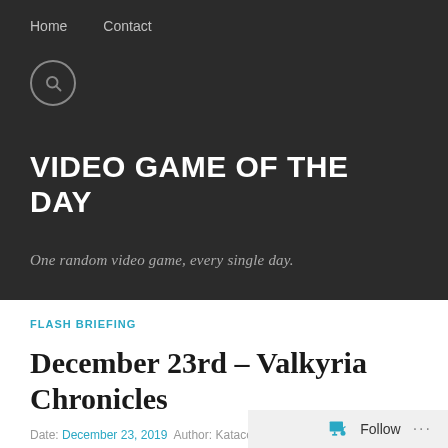Home   Contact
VIDEO GAME OF THE DAY
One random video game, every single day.
FLASH BRIEFING
December 23rd – Valkyria Chronicles
Date: December 23, 2019  Author: Katacore  💬 0